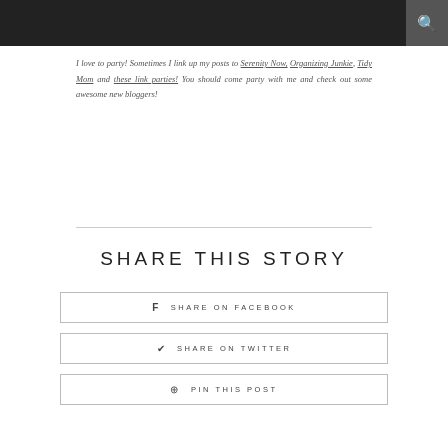I love to party! Sometimes I link up my posts to Serenity Now, Organizing Junkie, Tidy Mom and these link parties! You should come party with me and check out some awesome new bloggers!
SHARE THIS STORY
f  SHARE ON FACEBOOK
✦  SHARE ON TWITTER
⊕  PIN THIS POST